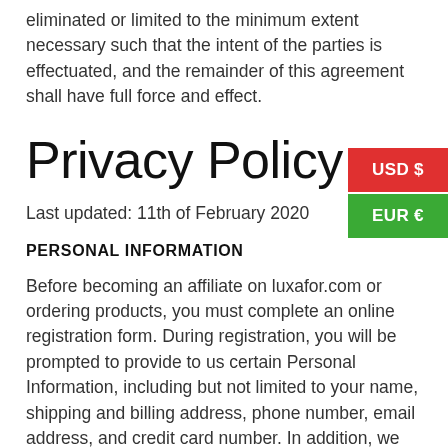eliminated or limited to the minimum extent necessary such that the intent of the parties is effectuated, and the remainder of this agreement shall have full force and effect.
Privacy Policy
Last updated: 11th of February 2020
PERSONAL INFORMATION
Before becoming an affiliate on luxafor.com or ordering products, you must complete an online registration form. During registration, you will be prompted to provide to us certain Personal Information, including but not limited to your name, shipping and billing address, phone number, email address, and credit card number. In addition, we